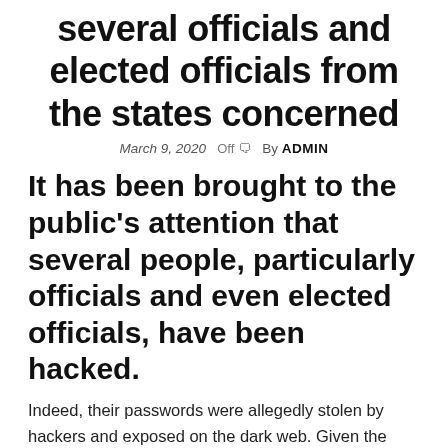several officials and elected officials from the states concerned
March 9, 2020   Off   By ADMIN
It has been brought to the public's attention that several people, particularly officials and even elected officials, have been hacked.
Indeed, their passwords were allegedly stolen by hackers and exposed on the dark web. Given the position of those affected, vital information could be